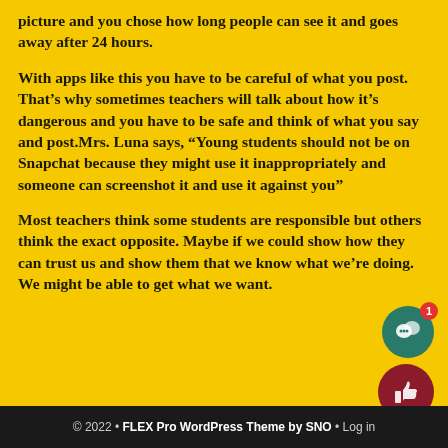picture and you chose how long people can see it and goes away after 24 hours.
With apps like this you have to be careful of what you post. That’s why sometimes teachers will talk about how it’s dangerous and you have to be safe and think of what you say and post.Mrs. Luna says, “Young students should not be on Snapchat because they might use it inappropriately and someone can screenshot it and use it against you”
Most teachers think some students are responsible but others think the exact opposite. Maybe if we could show how they can trust us and show them that we know what we’re doing. We might be able to get what we want.
© 2022 • FLEX Pro WordPress Theme by SNO • Log in